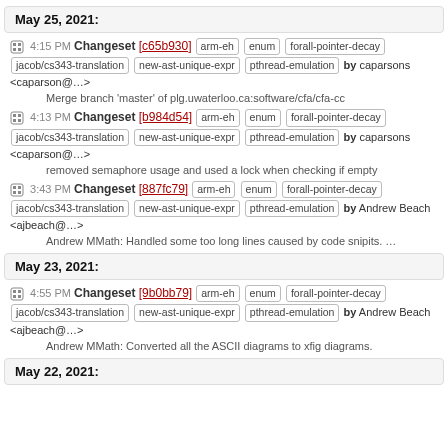May 25, 2021:
4:15 PM Changeset [c65b930] arm-eh enum forall-pointer-decay jacob/cs343-translation new-ast-unique-expr pthread-emulation by caparsons <caparson@...>
Merge branch 'master' of plg.uwaterloo.ca:software/cfa/cfa-cc
4:13 PM Changeset [b984d54] arm-eh enum forall-pointer-decay jacob/cs343-translation new-ast-unique-expr pthread-emulation by caparsons <caparson@...>
removed semaphore usage and used a lock when checking if empty
3:43 PM Changeset [887fc79] arm-eh enum forall-pointer-decay jacob/cs343-translation new-ast-unique-expr pthread-emulation by Andrew Beach <ajbeach@...>
Andrew MMath: Handled some too long lines caused by code snipits. …
May 23, 2021:
4:55 PM Changeset [9b0bb79] arm-eh enum forall-pointer-decay jacob/cs343-translation new-ast-unique-expr pthread-emulation by Andrew Beach <ajbeach@...>
Andrew MMath: Converted all the ASCII diagrams to xfig diagrams.
May 22, 2021: